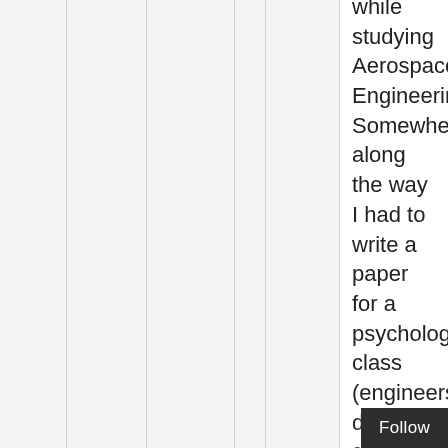while studying Aerospace Engineering. Somewhere along the way I had to write a paper for a psychology class (engineers don't get psychology). I finally settled on the topic of mandatory spin training and the FAA's choice to drop the requirement. I framed the decision as negative reinforcement vs positive reinforcement to make it comply wi